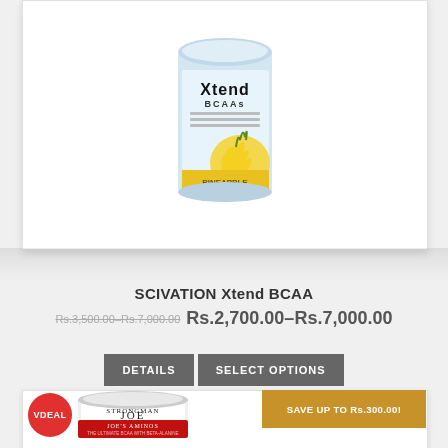[Figure (photo): Xtend BCAAs supplement tub with pineapple flavor image]
SCIVATION Xtend BCAA
Rs.3,500.00–Rs.7,000.00 Rs.2,700.00–Rs.7,000.00
DETAILS  SELECT OPTIONS
[Figure (photo): Strongman Joe Joes Aminos supplement tub with VDEAL badge and save up to Rs.300.00 banner]